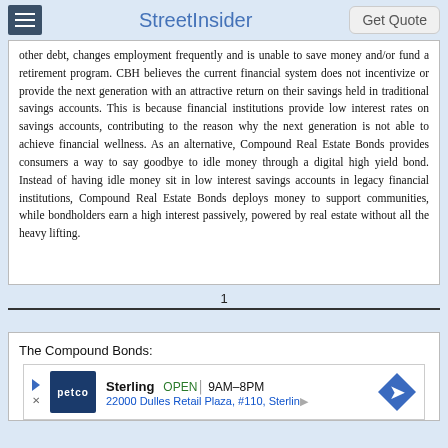StreetInsider
other debt, changes employment frequently and is unable to save money and/or fund a retirement program. CBH believes the current financial system does not incentivize or provide the next generation with an attractive return on their savings held in traditional savings accounts. This is because financial institutions provide low interest rates on savings accounts, contributing to the reason why the next generation is not able to achieve financial wellness. As an alternative, Compound Real Estate Bonds provides consumers a way to say goodbye to idle money through a digital high yield bond. Instead of having idle money sit in low interest savings accounts in legacy financial institutions, Compound Real Estate Bonds deploys money to support communities, while bondholders earn a high interest passively, powered by real estate without all the heavy lifting.
1
The Compound Bonds:
[Figure (other): Petco advertisement banner showing Sterling location OPEN 9AM-8PM at 22000 Dulles Retail Plaza, #110, Sterling]